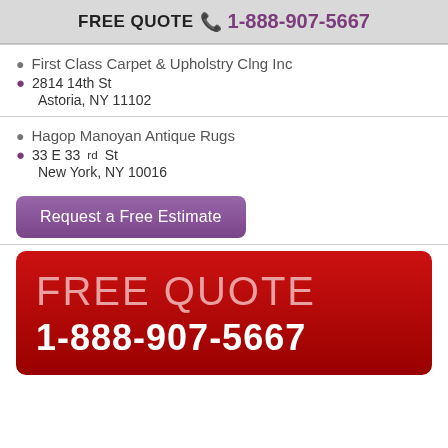FREE QUOTE 1-888-907-5667
First Class Carpet & Upholstry Clng Inc
2814 14th St
Astoria, NY 11102
Hagop Manoyan Antique Rugs
33 E 33rd St
New York, NY 10016
Request a Free Estimate
[Figure (infographic): Red banner with FREE QUOTE in large light text and 1-888-907-5667 in large bold white text]